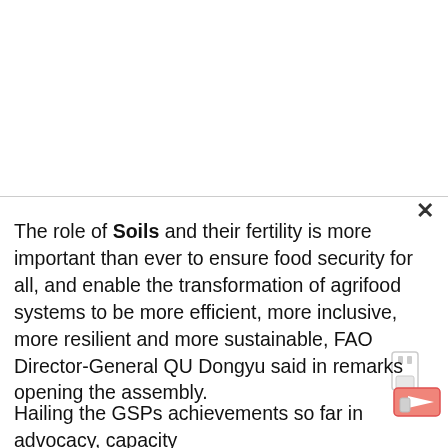[Figure (other): White rectangular area representing an image placeholder at the top of the page, with a close (×) button at top right]
The role of Soils and their fertility is more important than ever to ensure food security for all, and enable the transformation of agrifood systems to be more efficient, more inclusive, more resilient and more sustainable, FAO Director-General QU Dongyu said in remarks opening the assembly.
Hailing the GSPs achievements so far in advocacy, capacity